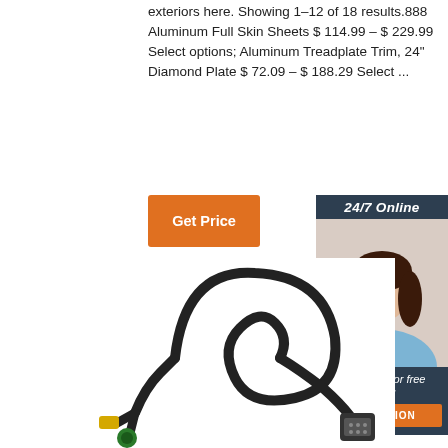exteriors here. Showing 1–12 of 18 results.888 Aluminum Full Skin Sheets $ 114.99 – $ 229.99 Select options; Aluminum Treadplate Trim, 24" Diamond Plate $ 72.09 – $ 188.29 Select ...
[Figure (other): Orange 'Get Price' button]
[Figure (other): 24/7 Online chat widget with customer service representative photo, 'Click here for free chat!' text, and orange QUOTATION button]
[Figure (photo): Black electrical cable with multiple connectors including yellow, green, and multi-pin connectors, coiled on white background]